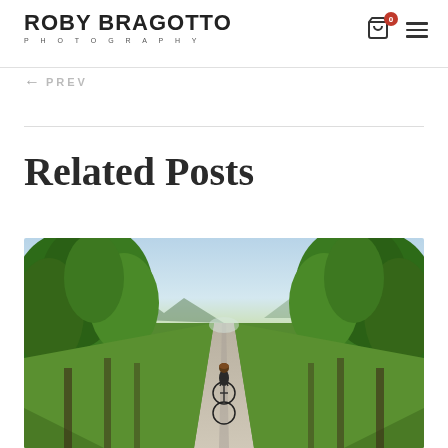ROBY BRAGOTTO PHOTOGRAPHY
← PREV
Related Posts
[Figure (photo): A person riding a bicycle on a wide gravel path flanked by tall green trees forming a natural tunnel, with mountains visible in the background under a partly cloudy sky.]